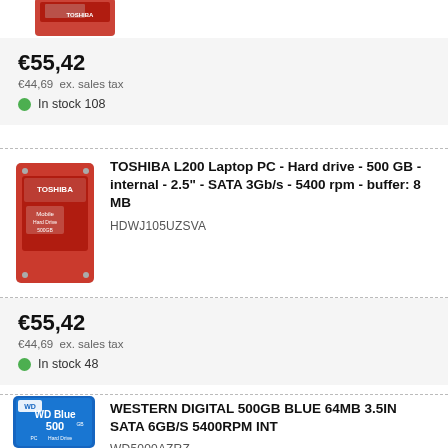[Figure (photo): Partial view of a red Toshiba hard drive product image (top cropped)]
€55,42
€44,69  ex. sales tax
In stock 108
[Figure (photo): Toshiba L200 red hard drive product image]
TOSHIBA L200 Laptop PC - Hard drive - 500 GB - internal - 2.5" - SATA 3Gb/s - 5400 rpm - buffer: 8 MB
HDWJ105UZSVA
€55,42
€44,69  ex. sales tax
In stock 48
[Figure (photo): WD Blue 500GB PC Hard Drive product image]
WESTERN DIGITAL 500GB BLUE 64MB 3.5IN SATA 6GB/S 5400RPM INT
WD5000AZRZ